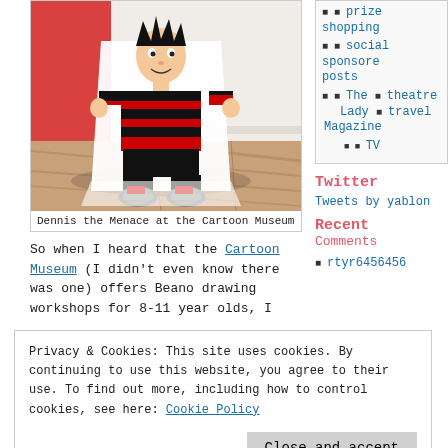[Figure (photo): Dennis the Menace cartoon character cutout displayed at the Cartoon Museum, showing figure in black and red striped shirt with black trousers and grey shoes, placed on a wooden floor against a white wall]
Dennis the Menace at the Cartoon Museum
So when I heard that the Cartoon Museum (I didn't even know there was one) offers Beano drawing workshops for 8-11 year olds, I
prize shopping
social sponsored posts
The Lady Magazine
theatre
travel
TV
Twitter
Tweets by yablon
Recent Comments
rtyr6456456
Privacy & Cookies: This site uses cookies. By continuing to use this website, you agree to their use. To find out more, including how to control cookies, see here: Cookie Policy
Close and accept